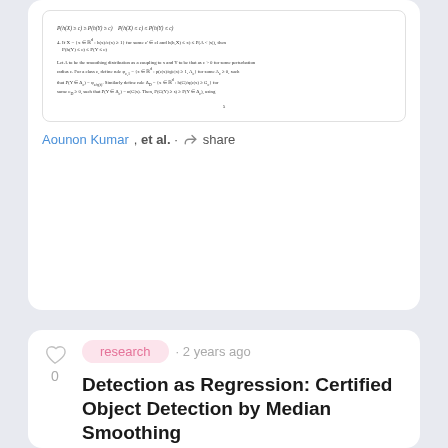[Figure (screenshot): Preview of a scientific paper page showing formulas and text at the top of the feed card]
Aounon Kumar, et al. · share
[Figure (other): Heart/like icon with count 0]
research · 2 years ago
Detection as Regression: Certified Object Detection by Median Smoothing
Despite the vulnerability of object detectors to adversarial attacks, ve...
[Figure (photo): Thumbnail showing object detection results: a bird, a person, and a horse with bounding boxes]